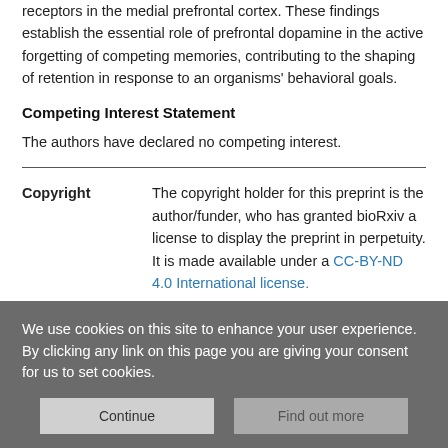receptors in the medial prefrontal cortex. These findings establish the essential role of prefrontal dopamine in the active forgetting of competing memories, contributing to the shaping of retention in response to an organisms' behavioral goals.
Competing Interest Statement
The authors have declared no competing interest.
Copyright
The copyright holder for this preprint is the author/funder, who has granted bioRxiv a license to display the preprint in perpetuity. It is made available under a CC-BY-ND 4.0 International license.
We use cookies on this site to enhance your user experience. By clicking any link on this page you are giving your consent for us to set cookies.